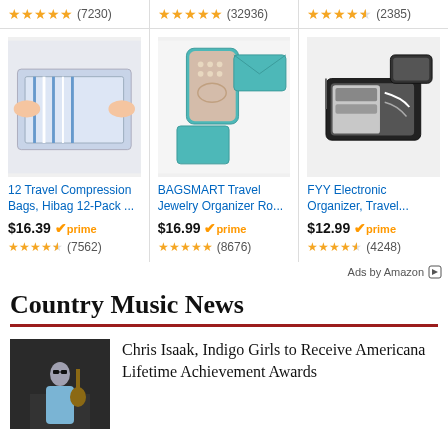[Figure (other): Top ratings row showing three product rating cells: 4.5 stars (7230), 5 stars (32936), 4.5 stars (2385)]
[Figure (other): Three product cards: '12 Travel Compression Bags, Hibag 12-Pack ...' $16.39 prime 4.5 stars (7562); 'BAGSMART Travel Jewelry Organizer Ro...' $16.99 prime 5 stars (8676); 'FYY Electronic Organizer, Travel...' $12.99 prime 4.5 stars (4248)]
Ads by Amazon
Country Music News
Chris Isaak, Indigo Girls to Receive Americana Lifetime Achievement Awards